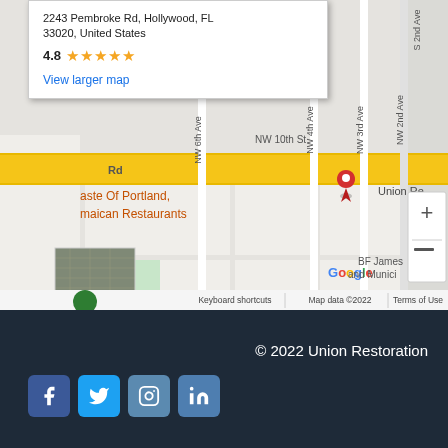[Figure (screenshot): Google Maps screenshot showing a location pin near Pembroke Rd, Hollywood FL. Map shows NW 10th St, NW 6th Ave, NW 4th Ave, NW 3rd Ave, NW 2nd Ave, and a popup with address 2243 Pembroke Rd, Hollywood, FL 33020, United States, rating 4.8 stars, with a 'View larger map' link. Map attribution: Google, BF James and Munici..., Keyboard shortcuts, Map data ©2022, Terms of Use.]
2243 Pembroke Rd, Hollywood, FL 33020, United States
4.8 ★★★★★
View larger map
© 2022 Union Restoration